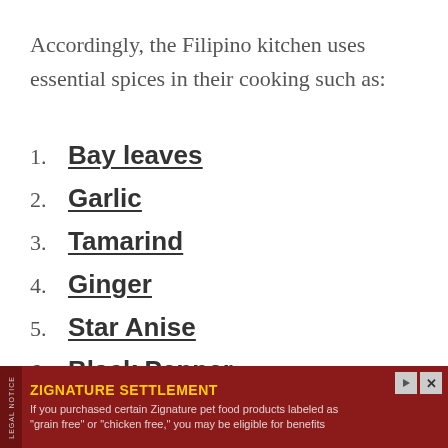Accordingly, the Filipino kitchen uses essential spices in their cooking such as:
Bay leaves
Garlic
Tamarind
Ginger
Star Anise
Black Pepper
[Figure (other): Advertisement banner for Zignature Settlement legal notice. Dark red background with yellow bold title 'ZIGNATURE SETTLEMENT' and text: 'If you purchased certain Zignature pet food products labeled as "grain free" or "chicken free," you may be eligible for benefits']